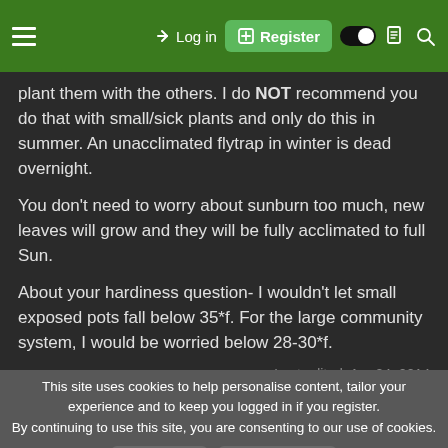≡  →) Log in  [+] Register  (toggle)  (document)  (search)
plant them with the others. I do NOT recommend you do that with small/sick plants and only do this in summer. An unacclimated flytrap in winter is dead overnight.

You don't need to worry about sunburn too much, new leaves will grow and they will be fully acclimated to full Sun.

About your hardiness question- I wouldn't let small exposed pots fall below 35*f. For the large community system, I would be worried below 28-30*f.
Last edited: Apr 24, 2014
This site uses cookies to help personalise content, tailor your experience and to keep you logged in if you register.
By continuing to use this site, you are consenting to our use of cookies.
✓ Accept   Learn more...